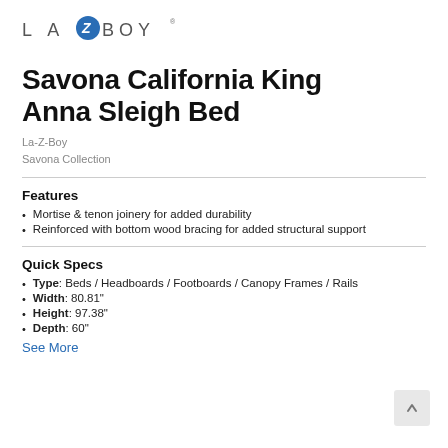[Figure (logo): La-Z-Boy logo with stylized Z in a circle, text spaced out in gray and dark]
Savona California King Anna Sleigh Bed
La-Z-Boy
Savona Collection
Features
Mortise & tenon joinery for added durability
Reinforced with bottom wood bracing for added structural support
Quick Specs
Type: Beds / Headboards / Footboards / Canopy Frames / Rails
Width: 80.81"
Height: 97.38"
Depth: 60"
See More